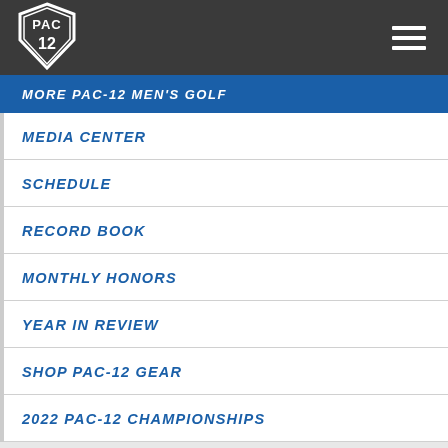[Figure (logo): PAC-12 shield logo in white on dark gray header bar]
MORE PAC-12 MEN'S GOLF
MEDIA CENTER
SCHEDULE
RECORD BOOK
MONTHLY HONORS
YEAR IN REVIEW
SHOP PAC-12 GEAR
2022 PAC-12 CHAMPIONSHIPS
[Figure (screenshot): Partial view of a PAC-12 branded screen/monitor at the bottom of the page]